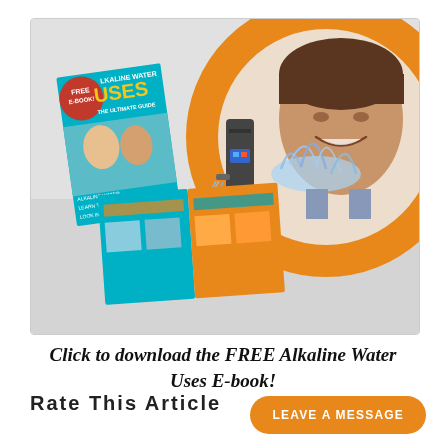[Figure (illustration): Promotional banner image showing a free Alkaline Water Uses e-book mockup (cover and open spread) on the left, and a woman splashing water on her face inside an orange circular frame on the right, with a water ionizer device in the center.]
Click to download the FREE Alkaline Water Uses E-book!
Rate This Article
LEAVE A MESSAGE